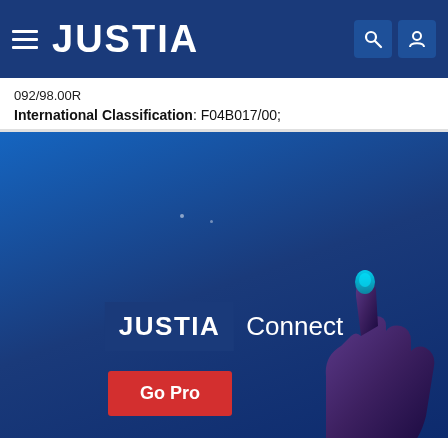[Figure (screenshot): Justia website navigation bar with hamburger menu icon, JUSTIA logo in white on dark blue background, and search/user icons on right]
092/98.00R
International Classification: F04B017/00;
[Figure (illustration): Justia Connect promotional banner on dark blue background showing JUSTIA Connect logo with a hand pointing, and a red Go Pro button]